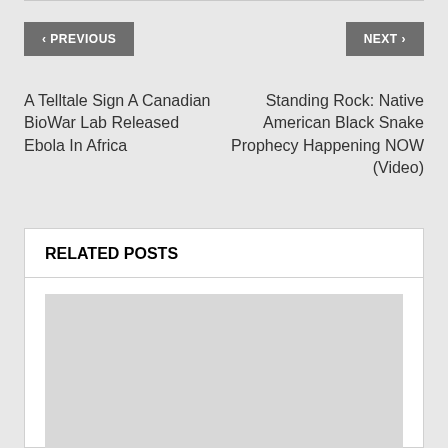< PREVIOUS
NEXT >
A Telltale Sign A Canadian BioWar Lab Released Ebola In Africa
Standing Rock: Native American Black Snake Prophecy Happening NOW (Video)
RELATED POSTS
[Figure (photo): Placeholder image for a related post thumbnail]